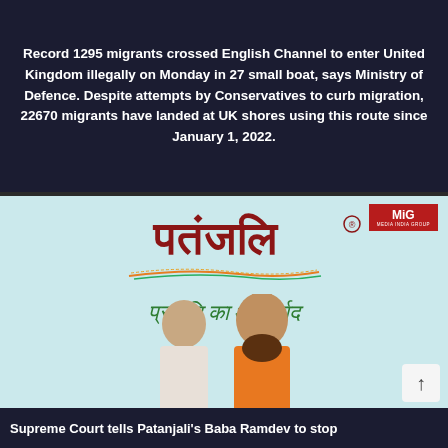Record 1295 migrants crossed English Channel to enter United Kingdom illegally on Monday in 27 small boat, says Ministry of Defence. Despite attempts by Conservatives to curb migration, 22670 migrants have landed at UK shores using this route since January 1, 2022.
[Figure (logo): Patanjali brand advertisement with logo in Hindi script, tagline in Hindi, MIG badge, and two persons (Baba Ramdev and associate)]
Supreme Court tells Patanjali's Baba Ramdev to stop